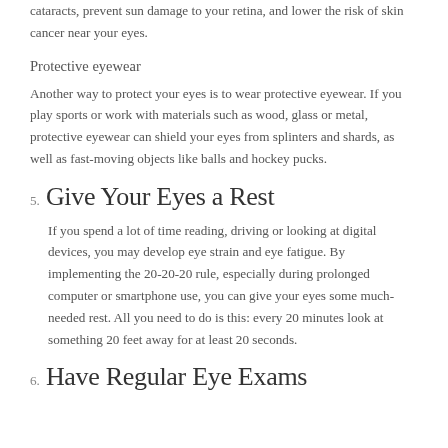cataracts, prevent sun damage to your retina, and lower the risk of skin cancer near your eyes.
Protective eyewear
Another way to protect your eyes is to wear protective eyewear. If you play sports or work with materials such as wood, glass or metal, protective eyewear can shield your eyes from splinters and shards, as well as fast-moving objects like balls and hockey pucks.
5. Give Your Eyes a Rest
If you spend a lot of time reading, driving or looking at digital devices, you may develop eye strain and eye fatigue. By implementing the 20-20-20 rule, especially during prolonged computer or smartphone use, you can give your eyes some much-needed rest. All you need to do is this: every 20 minutes look at something 20 feet away for at least 20 seconds.
6. Have Regular Eye Exams